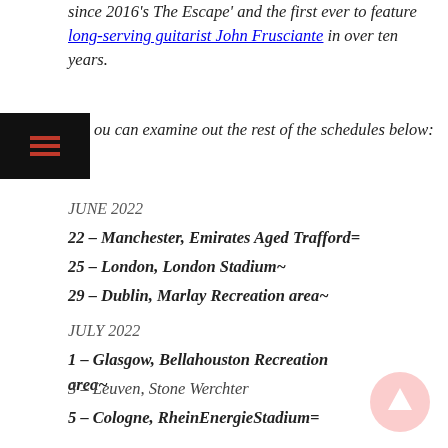since 2016's The Escape' and the first ever to feature long-serving guitarist John Frusciante in over ten years.
You can examine out the rest of the schedules below:
JUNE 2022
22 – Manchester, Emirates Aged Trafford=
25 – London, London Stadium~
29 – Dublin, Marlay Recreation area~
JULY 2022
1 – Glasgow, Bellahouston Recreation area~
3 – Leuven, Stone Werchter
5 – Cologne, RheinEnergieStadium=